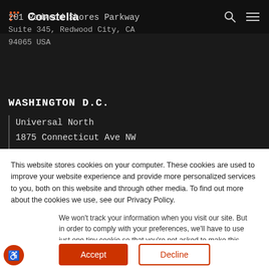Constella
201 Redwood Shores Parkway
Suite 345, Redwood City, CA
94065 USA
WASHINGTON D.C.
Universal North
1875 Connecticut Ave NW
10th Floor, Washington, DC
This website stores cookies on your computer. These cookies are used to improve your website experience and provide more personalized services to you, both on this website and through other media. To find out more about the cookies we use, see our Privacy Policy.
We won't track your information when you visit our site. But in order to comply with your preferences, we'll have to use just one tiny cookie so that you're not asked to make this choice again.